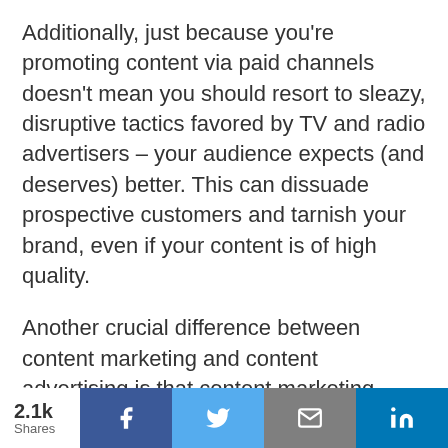Additionally, just because you're promoting content via paid channels doesn't mean you should resort to sleazy, disruptive tactics favored by TV and radio advertisers – your audience expects (and deserves) better. This can dissuade prospective customers and tarnish your brand, even if your content is of high quality.
Another crucial difference between content marketing and content advertising is that content marketing campaigns often rely on SEO and organic
2.1k Shares  [Facebook] [Twitter] [Email] [LinkedIn]